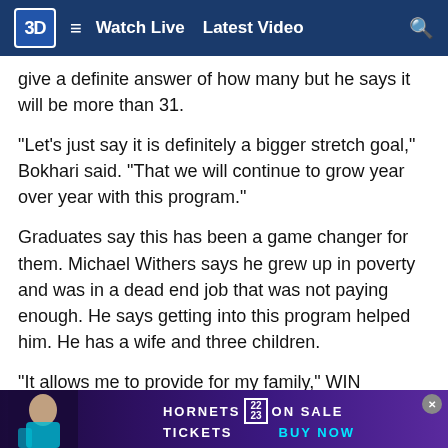3D Watch Live Latest Video
give a definite answer of how many but he says it will be more than 31.
“Let’s just say it is definitely a bigger stretch goal,” Bokhari said. “That we will continue to grow year over year with this program.”
Graduates say this has been a game changer for them. Michael Withers says he grew up in poverty and was in a dead end job that was not paying enough. He says getting into this program helped him. He has a wife and three children.
“It allows me to provide for my family,” WIN Graduate Michael Withers said. “It allows me to do more things I couldn’t do before - it means the world to me.”
[Figure (screenshot): Hornets Tickets 22/23 On Sale Buy Now advertisement banner at the bottom of the page]